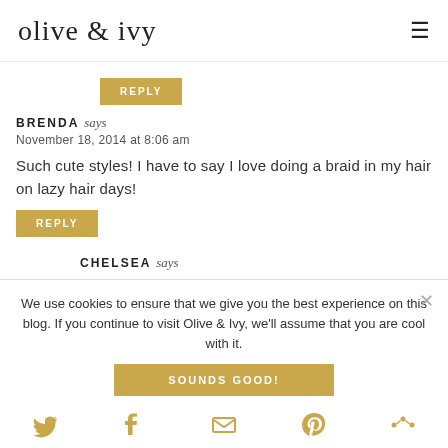olive & ivy
REPLY
BRENDA says
November 18, 2014 at 8:06 am
Such cute styles! I have to say I love doing a braid in my hair on lazy hair days!
REPLY
CHELSEA says
We use cookies to ensure that we give you the best experience on this blog. If you continue to visit Olive & Ivy, we'll assume that you are cool with it.
SOUNDS GOOD!